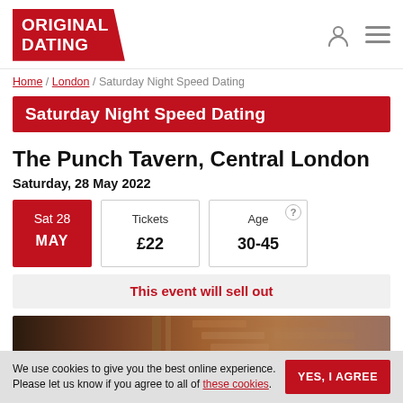ORIGINAL DATING
Home / London / Saturday Night Speed Dating
Saturday Night Speed Dating
The Punch Tavern, Central London
Saturday, 28 May 2022
Sat 28 MAY | Tickets £22 | Age 30-45
This event will sell out
[Figure (photo): Photo of The Punch Tavern venue interior/exterior with brick wall and metallic fixtures]
We use cookies to give you the best online experience. Please let us know if you agree to all of these cookies.